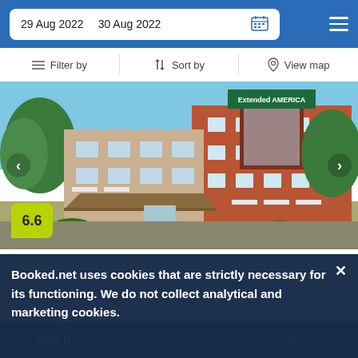29 Aug 2022  30 Aug 2022
Filter by  Sort by  View map
[Figure (photo): Exterior photo of Extended Stay America hotel, a red brick multi-story building with tile-roofed entrance canopy, surrounded by trees and landscaping, with a green/teal logo sign on the top.]
6.6
Nice
67 reviews
3.8 mi from Casselberry
3.8 mi from City Center
Guests can relax in the music bar of the hotel that boasts a convenient location in Altamonte Springs.
Booked.net uses cookies that are strictly necessary for its functioning. We do not collect analytical and marketing cookies.
us$ 97/night  SELECT